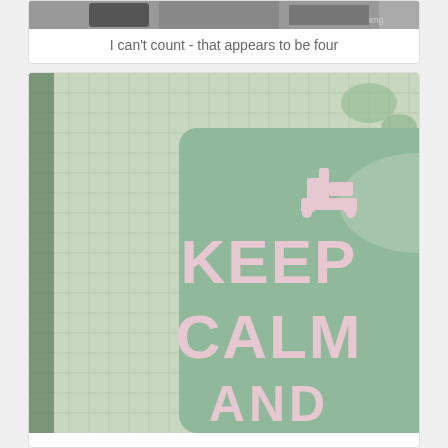[Figure (photo): Partial view of an image at the top, cropped, showing a dark object on a light background]
I can't count - that appears to be four
[Figure (photo): A mint green 'Keep Calm and...' themed tin or box with a sewing machine icon, placed on a green and white grid fabric/quilt background. The text visible reads KEEP, CALM, AND with a sewing machine silhouette above.]